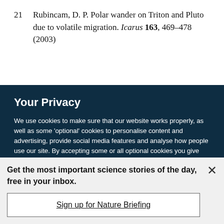21 Rubincam, D. P. Polar wander on Triton and Pluto due to volatile migration. Icarus 163, 469–478 (2003)
Your Privacy
We use cookies to make sure that our website works properly, as well as some 'optional' cookies to personalise content and advertising, provide social media features and analyse how people use our site. By accepting some or all optional cookies you give consent to the processing of your personal data, including transfer to third parties, some in countries outside of the European Economic Area that do not offer the same data protection standards as the country where you live. You can decide which optional cookies to accept by clicking on 'Manage Settings', where you can
Get the most important science stories of the day, free in your inbox.
Sign up for Nature Briefing